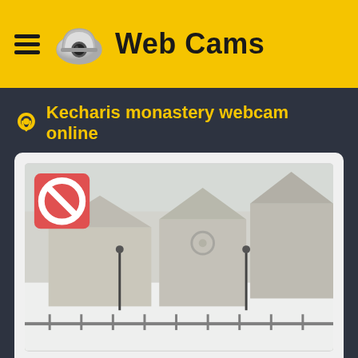Web Cams
Kecharis monastery webcam online
[Figure (photo): Webcam view of Kecharis monastery complex covered in snow, with stone church buildings and a fenced courtyard. A red circle-with-slash icon appears in the top-left corner of the image.]
1498
Social share buttons: VK, Facebook, Twitter, Odnoklassniki, Mail.ru